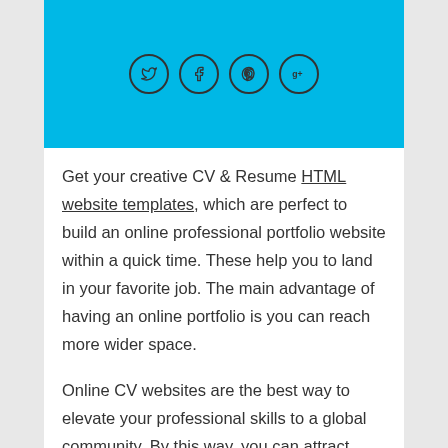[Figure (other): Blue header bar with four social media icons in circles: Twitter (bird), Facebook (f), Pinterest (p), Google+ (g+)]
Get your creative CV & Resume HTML website templates, which are perfect to build an online professional portfolio website within a quick time. These help you to land in your favorite job. The main advantage of having an online portfolio is you can reach more wider space.
Online CV websites are the best way to elevate your professional skills to a global community. By this way, you can attract more job opportunities. The chances of getting a job will increase rapidly. Your